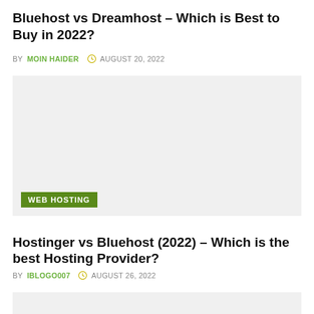Bluehost vs Dreamhost – Which is Best to Buy in 2022?
BY MOIN HAIDER AUGUST 20, 2022
[Figure (other): Placeholder image with WEB HOSTING category badge at bottom left]
Hostinger vs Bluehost (2022) – Which is the best Hosting Provider?
BY IBLOGO007 AUGUST 26, 2022
[Figure (other): Partial placeholder image at bottom of page]